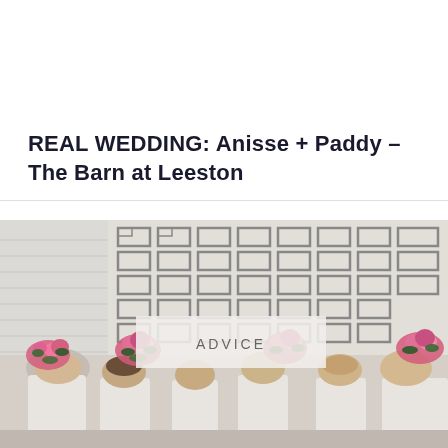REAL WEDDING: Anisse + Paddy – The Barn at Leeston
[Figure (photo): Group of bridesmaids in white dresses holding pink flower bouquets raised above their heads, standing in front of a white geometric lattice wall. An overlay box in the center reads 'ADVICE'.]